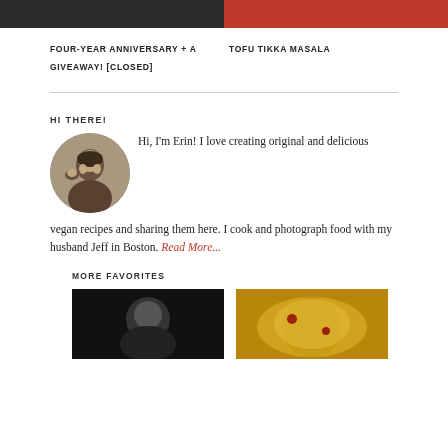[Figure (photo): Two cropped photos at top: left shows a person in dark setting, right shows red element]
FOUR-YEAR ANNIVERSARY + A GIVEAWAY! [CLOSED]
TOFU TIKKA MASALA
HI THERE!
[Figure (photo): Circular profile photo of Erin holding a cat]
Hi, I'm Erin! I love creating original and delicious vegan recipes and sharing them here. I cook and photograph food with my husband Jeff in Boston. Read More...
MORE FAVORITES
[Figure (photo): Two thumbnail food photos at the bottom]